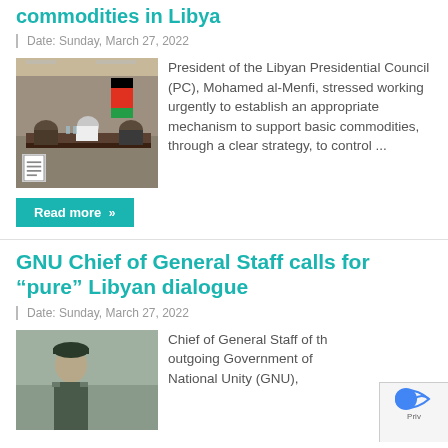commodities in Libya
Date: Sunday, March 27, 2022
[Figure (photo): Meeting scene with officials seated around a table, Libyan flag visible in background]
President of the Libyan Presidential Council (PC), Mohamed al-Menfi, stressed working urgently to establish an appropriate mechanism to support basic commodities, through a clear strategy, to control ...
Read more »
GNU Chief of General Staff calls for “pure” Libyan dialogue
Date: Sunday, March 27, 2022
[Figure (photo): Military officer in uniform with beret, outdoors]
Chief of General Staff of the outgoing Government of National Unity (GNU),